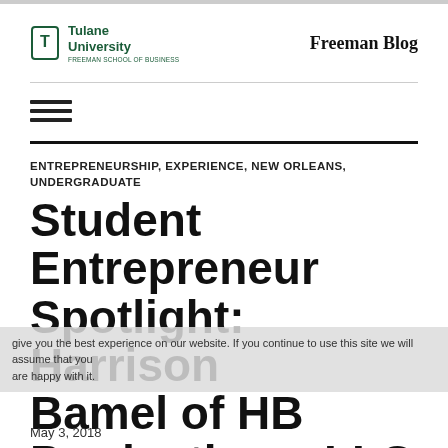Tulane University Freeman School of Business — Freeman Blog
ENTREPRENEURSHIP, EXPERIENCE, NEW ORLEANS, UNDERGRADUATE
Student Entrepreneur Spotlight: Harrison Bamel of HB Productions, LLC
We give you the best experience on our website. If you continue to use this site we will assume that you are happy with it.
May 3, 2018